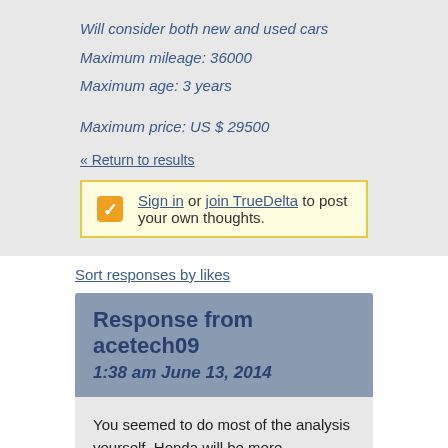Will consider both new and used cars
Maximum mileage: 36000
Maximum age: 3 years
Maximum price: US $ 29500
« Return to results
Sign in or join TrueDelta to post your own thoughts.
Sort responses by likes
Response from acetech09
1:38 am June 13, 2014
You seemed to do most of the analysis yourself. Honda will be more economical. Ford will be more fun. If you want to keep